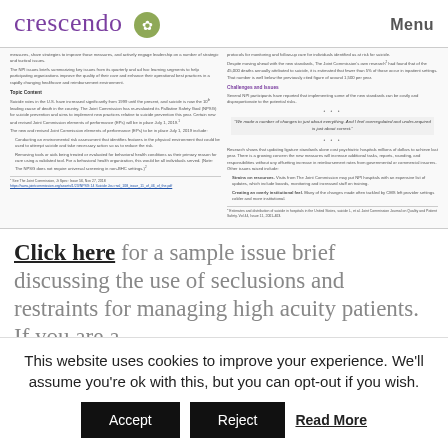crescendo | Menu
[Figure (screenshot): Two-column document preview showing article content about suicide prevention and behavioral health, including 'Topic Content' section header, 'Challenges and Issues' section, a pull quote, and bullet points. Footnotes with links at the bottom.]
Click here for a sample issue brief discussing the use of seclusions and restraints for managing high acuity patients. If you are a
This website uses cookies to improve your experience. We'll assume you're ok with this, but you can opt-out if you wish.
Accept | Reject | Read More